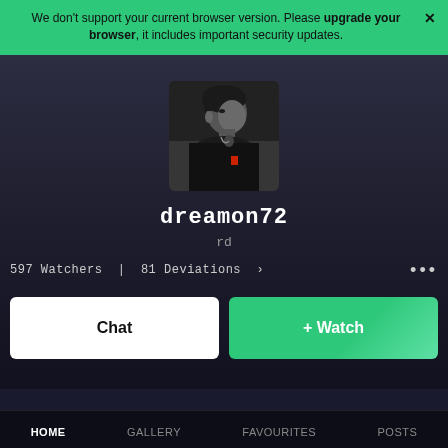We don't support your current browser version. Please upgrade your browser, it includes important security updates.
[Figure (photo): Black and white profile photo of a person looking sideways, with a small red accent visible on clothing or necklace area.]
dreamon72
rd
597 Watchers | 81 Deviations >
Chat
+ Watch
HOME   GALLERY   FAVOURITES   POSTS